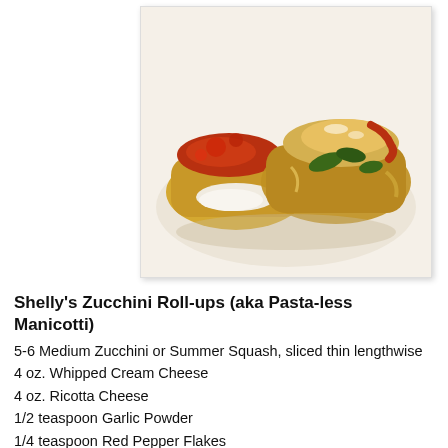[Figure (photo): Photo of Shelly's Zucchini Roll-ups (Pasta-less Manicotti) — two baked zucchini roll-ups filled with white cheese, topped with red marinara sauce and melted cheese, with visible spinach, served on a white plate.]
Shelly's Zucchini Roll-ups (aka Pasta-less Manicotti)
5-6 Medium Zucchini or Summer Squash, sliced thin lengthwise
4 oz. Whipped Cream Cheese
4 oz. Ricotta Cheese
1/2 teaspoon Garlic Powder
1/4 teaspoon Red Pepper Flakes
1/2 teaspoon Oregano